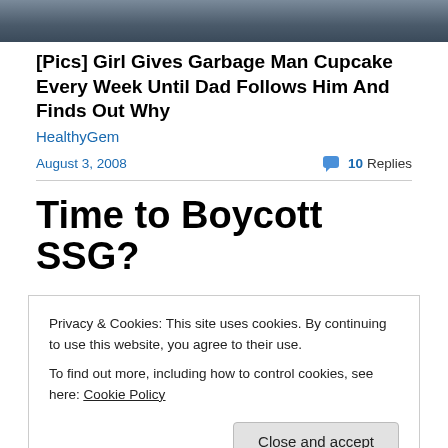[Figure (photo): Partial photo of a person, cropped at top of page]
[Pics] Girl Gives Garbage Man Cupcake Every Week Until Dad Follows Him And Finds Out Why
HealthyGem
August 3, 2008
10 Replies
Time to Boycott SSG?
Has the time come to boycott the SSG bookshops?
Thus far I have resisted an outright call for a boycott
Privacy & Cookies: This site uses cookies. By continuing to use this website, you agree to their use.
To find out more, including how to control cookies, see here: Cookie Policy
Close and accept